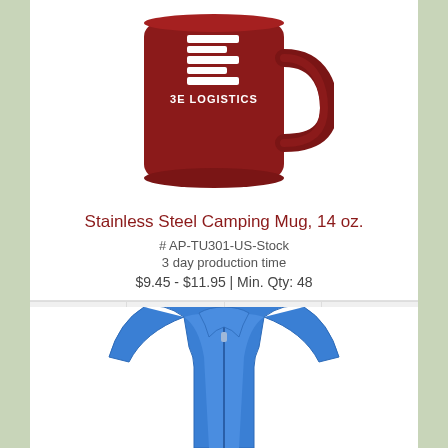[Figure (photo): Red stainless steel camping mug with 3E Logistics logo in white on the front, with a handle on the right side.]
Stainless Steel Camping Mug, 14 oz.
# AP-TU301-US-Stock
3 day production time
$9.45 - $11.95 | Min. Qty: 48
[Figure (screenshot): Action bar with four icon buttons: shopping cart, email envelope, info circle, and list/menu icon.]
[Figure (photo): Blue quarter-zip athletic pullover jacket, partial view showing upper torso area.]